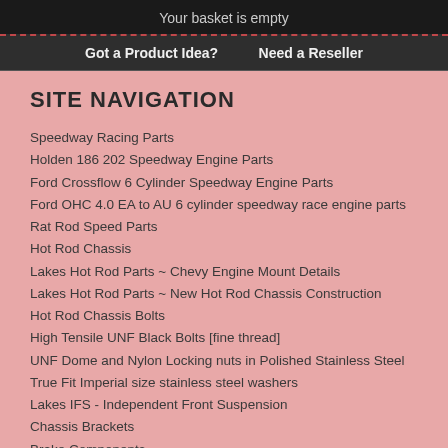Your basket is empty
Got a Product Idea?   Need a Reseller
SITE NAVIGATION
Speedway Racing Parts
Holden 186 202 Speedway Engine Parts
Ford Crossflow 6 Cylinder Speedway Engine Parts
Ford OHC 4.0 EA to AU 6 cylinder speedway race engine parts
Rat Rod Speed Parts
Hot Rod Chassis
Lakes Hot Rod Parts ~ Chevy Engine Mount Details
Lakes Hot Rod Parts ~ New Hot Rod Chassis Construction
Hot Rod Chassis Bolts
High Tensile UNF Black Bolts [fine thread]
UNF Dome and Nylon Locking nuts in Polished Stainless Steel
True Fit Imperial size stainless steel washers
Lakes IFS - Independent Front Suspension
Chassis Brackets
Brake Components
Jaguar Diff Parts
Gasser Axle Kits
Chassis Steel Brackets
Ladder Bars and Hair Pins